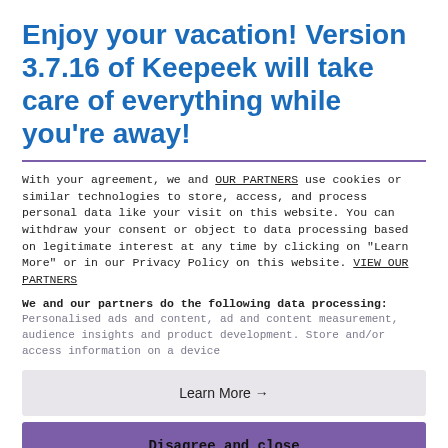Enjoy your vacation! Version 3.7.16 of Keepeek will take care of everything while you're away!
With your agreement, we and OUR PARTNERS use cookies or similar technologies to store, access, and process personal data like your visit on this website. You can withdraw your consent or object to data processing based on legitimate interest at any time by clicking on "Learn More" or in our Privacy Policy on this website. VIEW OUR PARTNERS
We and our partners do the following data processing:
Personalised ads and content, ad and content measurement, audience insights and product development. Store and/or access information on a device
Learn More →
Disagree and close
Agree and close